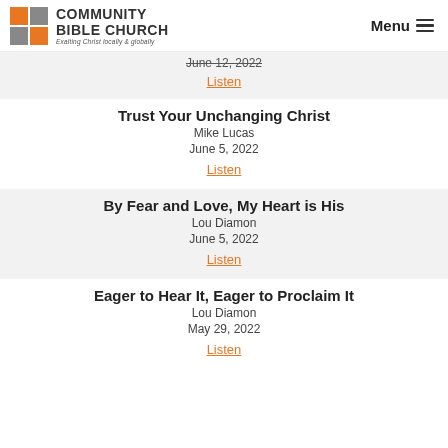Community Bible Church — Exalting Christ locally & globally | Menu
June 12, 2022
Listen
Trust Your Unchanging Christ
Mike Lucas
June 5, 2022
Listen
By Fear and Love, My Heart is His
Lou Diamon
June 5, 2022
Listen
Eager to Hear It, Eager to Proclaim It
Lou Diamon
May 29, 2022
Listen